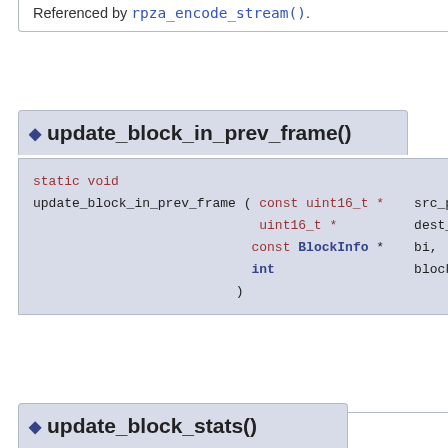Referenced by rpza_encode_stream().
◆ update_block_in_prev_frame()
static void
update_block_in_prev_frame ( const uint16_t * src_pixels, uint16_t * dest_pixels, const BlockInfo * bi, int block_counter )
Definition at line 419 of file rpzaenc.c.
Referenced by rpza_encode_stream().
◆ update_block_stats()